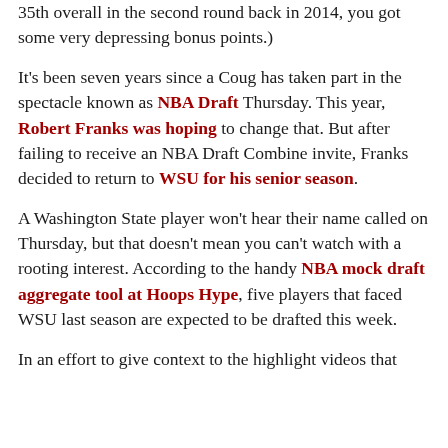35th overall in the second round back in 2014, you got some very depressing bonus points.)
It's been seven years since a Coug has taken part in the spectacle known as NBA Draft Thursday. This year, Robert Franks was hoping to change that. But after failing to receive an NBA Draft Combine invite, Franks decided to return to WSU for his senior season.
A Washington State player won't hear their name called on Thursday, but that doesn't mean you can't watch with a rooting interest. According to the handy NBA mock draft aggregate tool at Hoops Hype, five players that faced WSU last season are expected to be drafted this week.
In an effort to give context to the highlight videos that